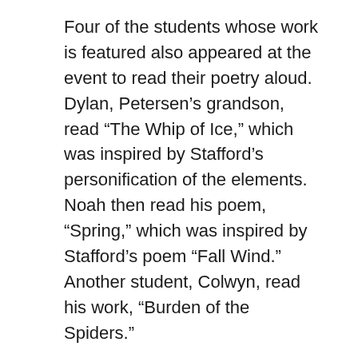Four of the students whose work is featured also appeared at the event to read their poetry aloud. Dylan, Petersen’s grandson, read “The Whip of Ice,” which was inspired by Stafford’s personification of the elements. Noah then read his poem, “Spring,” which was inspired by Stafford’s poem “Fall Wind.” Another student, Colwyn, read his work, “Burden of the Spiders.”
Finally, the student poetry showcase closed with two readings from Anushka Nair, who had recently appeared on Oregon Art Beat to discuss her participation in the book. She thanked her family as well as Ooligan Press, and she touted Paulann Petersen as her “steady motivation…”